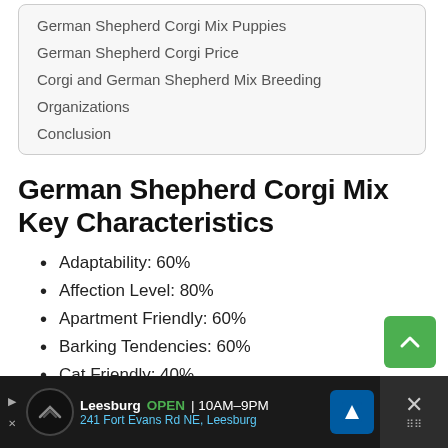German Shepherd Corgi Mix Puppies
German Shepherd Corgi Price
Corgi and German Shepherd Mix Breeding
Organizations
Conclusion
German Shepherd Corgi Mix Key Characteristics
Adaptability: 60%
Affection Level: 80%
Apartment Friendly: 60%
Barking Tendencies: 60%
Cat Friendly: 40%
Child Friendly: 80%